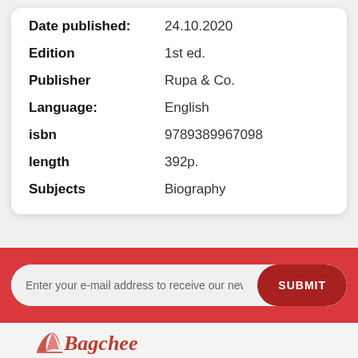| Field | Value |
| --- | --- |
| Date published: | 24.10.2020 |
| Edition | 1st ed. |
| Publisher | Rupa & Co. |
| Language: | English |
| isbn | 9789389967098 |
| length | 392p. |
| Subjects | Biography |
Enter your e-mail address to receive our newsl
SUBMIT
[Figure (logo): Bagchee bookstore logo with decorative script text and book graphic]